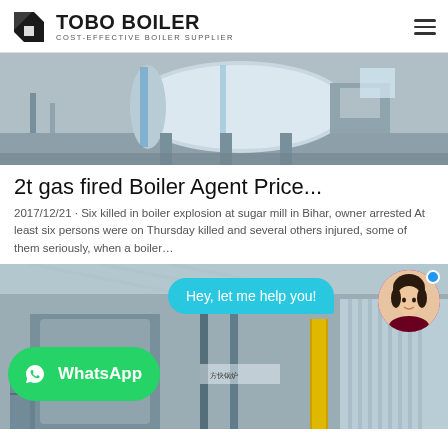TOBO BOILER - COST-EFFECTIVE BOILER SUPPLIER
[Figure (photo): Industrial gas-fired boiler in a factory/warehouse setting, showing large cylindrical boiler tank with blue casing, pipes, and industrial equipment.]
2t gas fired Boiler Agent Price...
2017/12/21 · Six killed in boiler explosion at sugar mill in Bihar, owner arrested At least six persons were on Thursday killed and several others injured, some of them seriously, when a boiler…
[Figure (photo): Industrial boiler facility with steel structure, large cylindrical equipment with yellow piping, and corrugated metal walls. Overlaid with a chat bubble 'Hey, let me help you!', an avatar of a young woman, a blue dot indicator, and a WhatsApp button.]